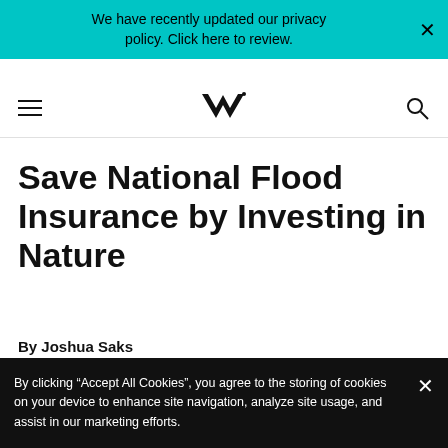We have recently updated our privacy policy. Click here to review.
[Figure (logo): MV logo with hamburger menu and search icon navigation bar]
Save National Flood Insurance by Investing in Nature
By Joshua Saks
April 3, 2017 at 5:00 am ET
By clicking “Accept All Cookies”, you agree to the storing of cookies on your device to enhance site navigation, analyze site usage, and assist in our marketing efforts.